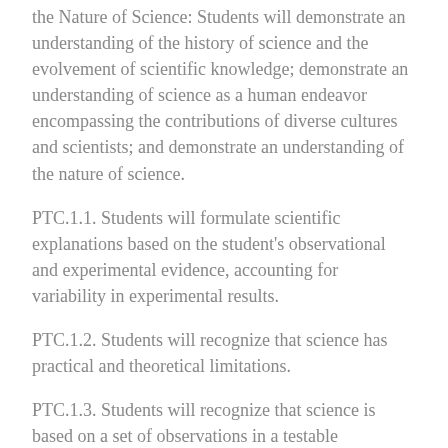the Nature of Science: Students will demonstrate an understanding of the history of science and the evolvement of scientific knowledge; demonstrate an understanding of science as a human endeavor encompassing the contributions of diverse cultures and scientists; and demonstrate an understanding of the nature of science.
PTC.1.1. Students will formulate scientific explanations based on the student's observational and experimental evidence, accounting for variability in experimental results.
PTC.1.2. Students will recognize that science has practical and theoretical limitations.
PTC.1.3. Students will recognize that science is based on a set of observations in a testable framework that demonstrate basic laws that are consistent.